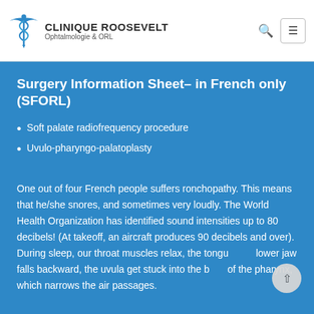CLINIQUE ROOSEVELT Ophtalmologie & ORL
Surgery Information Sheet– in French only (SFORL)
Soft palate radiofrequency procedure
Uvulo-pharyngo-palatoplasty
One out of four French people suffers ronchopathy. This means that he/she snores, and sometimes very loudly. The World Health Organization has identified sound intensities up to 80 decibels! (At takeoff, an aircraft produces 90 decibels and over). During sleep, our throat muscles relax, the tongue and lower jaw falls backward, the uvula get stuck into the back of the pharynx, which narrows the air passages.